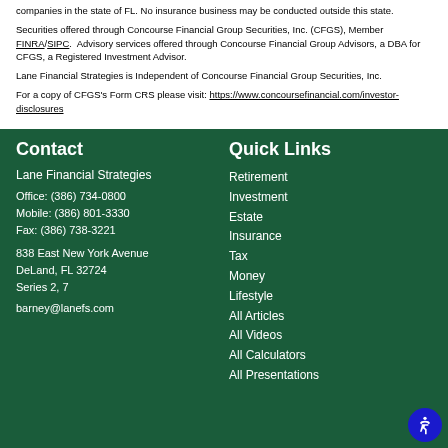companies in the state of FL. No insurance business may be conducted outside this state.
Securities offered through Concourse Financial Group Securities, Inc. (CFGS), Member FINRA/SIPC. Advisory services offered through Concourse Financial Group Advisors, a DBA for CFGS, a Registered Investment Advisor.
Lane Financial Strategies is Independent of Concourse Financial Group Securities, Inc.
For a copy of CFGS's Form CRS please visit: https://www.concoursefinancial.com/investor-disclosures
Contact
Lane Financial Strategies
Office: (386) 734-0800
Mobile: (386) 801-3330
Fax: (386) 738-3221
838 East New York Avenue
DeLand, FL 32724
Series 2, 7
barney@lanefs.com
Quick Links
Retirement
Investment
Estate
Insurance
Tax
Money
Lifestyle
All Articles
All Videos
All Calculators
All Presentations